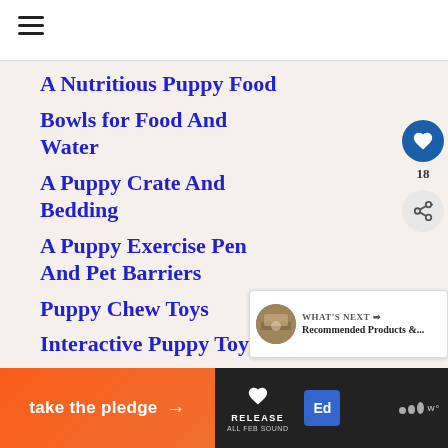≡
A Nutritious Puppy Food
Bowls for Food And Water
A Puppy Crate And Bedding
A Puppy Exercise Pen And Pet Barriers
Puppy Chew Toys
Interactive Puppy Toys
Cleaning Supplies
Collar And Leash
[Figure (screenshot): What's Next banner showing Recommended Products & ... with thumbnail image]
take the pledge → RELEASE Ed